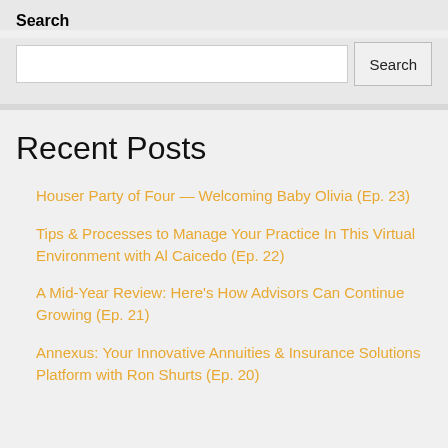Search
Search input and button
Recent Posts
Houser Party of Four — Welcoming Baby Olivia (Ep. 23)
Tips & Processes to Manage Your Practice In This Virtual Environment with Al Caicedo (Ep. 22)
A Mid-Year Review: Here's How Advisors Can Continue Growing (Ep. 21)
Annexus: Your Innovative Annuities & Insurance Solutions Platform with Ron Shurts (Ep. 20)